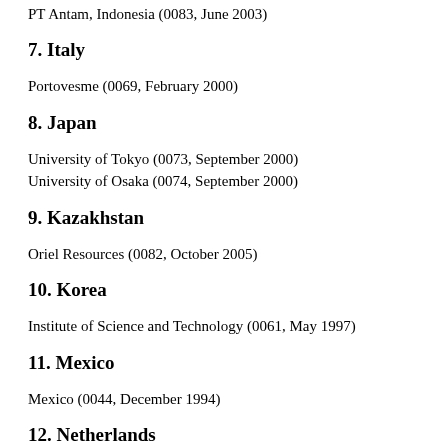PT Antam, Indonesia (0083, June 2003)
7. Italy
Portovesme (0069, February 2000)
8. Japan
University of Tokyo (0073, September 2000)
University of Osaka (0074, September 2000)
9. Kazakhstan
Oriel Resources (0082, October 2005)
10. Korea
Institute of Science and Technology (0061, May 1997)
11. Mexico
Mexico (0044, December 1994)
12. Netherlands